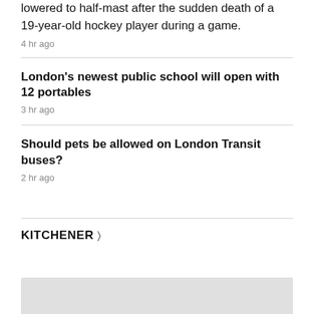lowered to half-mast after the sudden death of a 19-year-old hockey player during a game.
4 hr ago
London's newest public school will open with 12 portables
3 hr ago
Should pets be allowed on London Transit buses?
2 hr ago
KITCHENER >
[Figure (photo): Gray image placeholder at bottom of page]